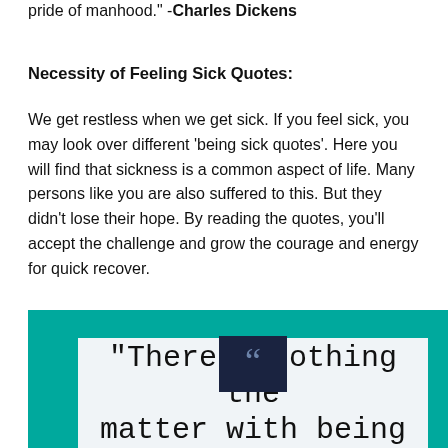pride of manhood." -Charles Dickens
Necessity of Feeling Sick Quotes:
We get restless when we get sick. If you feel sick, you may look over different ‘being sick quotes’. Here you will find that sickness is a common aspect of life. Many persons like you are also suffered to this. But they didn’t lose their hope. By reading the quotes, you’ll accept the challenge and grow the courage and energy for quick recover.
[Figure (infographic): Teal bordered quote card with dark navy square containing quotation marks at top center, white/light gray card background, and handwritten-style text reading "There’s nothing the matter with being"]